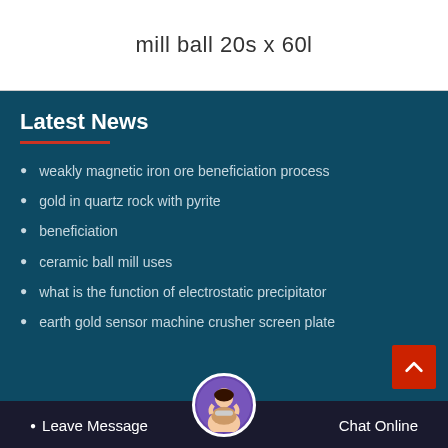mill ball 20s x 60l
Latest News
weakly magnetic iron ore beneficiation process
gold in quartz rock with pyrite
beneficiation
ceramic ball mill uses
what is the function of electrostatic precipitator
earth gold sensor machine crusher screen plate
Leave Message   Chat Online